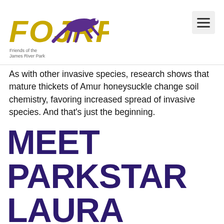FOJRP Friends of the James River Park
As with other invasive species, research shows that mature thickets of Amur honeysuckle change soil chemistry, favoring increased spread of invasive species. And that's just the beginning.
MEET PARKSTAR LAURA GREENLEAF!